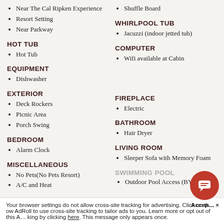Near The Cal Ripken Experience
Resort Setting
Near Parkway
Shuffle Board
WHIRLPOOL TUB
Jacuzzi (indoor jetted tub)
HOT TUB
Hot Tub
COMPUTER
Wifi available at Cabin
EQUIPMENT
Dishwasher
EXTERIOR
Deck Rockers
Picnic Area
Porch Swing
FIREPLACE
Electric
BEDROOM
Alarm Clock
BATHROOM
Hair Dryer
MISCELLANEOUS
No Pets(No Pets Resort)
A/C and Heat
LIVING ROOM
Sleeper Sofa with Memory Foam
SWIMMING POOL
Outdoor Pool Access (BYO)
Your browser settings do not allow cross-site tracking for advertising. Click on the X below AdRoll to use cross-site tracking to tailor ads to you. Learn more or opt out of this AdRoll tracking by clicking here. This message only appears once.